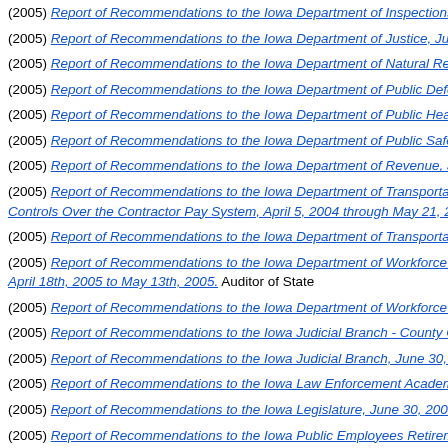(2005) Report of Recommendations to the Iowa Department of Inspections a...
(2005) Report of Recommendations to the Iowa Department of Justice, June...
(2005) Report of Recommendations to the Iowa Department of Natural Reso...
(2005) Report of Recommendations to the Iowa Department of Public Defens...
(2005) Report of Recommendations to the Iowa Department of Public Health...
(2005) Report of Recommendations to the Iowa Department of Public Safety...
(2005) Report of Recommendations to the Iowa Department of Revenue, Jun...
(2005) Report of Recommendations to the Iowa Department of Transportation... Controls Over the Contractor Pay System, April 5, 2004 through May 21, 200...
(2005) Report of Recommendations to the Iowa Department of Transportation...
(2005) Report of Recommendations to the Iowa Department of Workforce De... April 18th, 2005 to May 13th, 2005. Auditor of State
(2005) Report of Recommendations to the Iowa Department of Workforce De...
(2005) Report of Recommendations to the Iowa Judicial Branch - County Cle...
(2005) Report of Recommendations to the Iowa Judicial Branch, June 30, 20...
(2005) Report of Recommendations to the Iowa Law Enforcement Academy,...
(2005) Report of Recommendations to the Iowa Legislature, June 30, 2004,...
(2005) Report of Recommendations to the Iowa Public Employees Retireme...